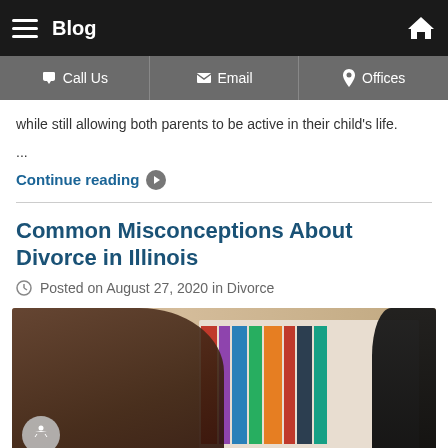Blog
while still allowing both parents to be active in their child's life.
...
Continue reading
Common Misconceptions About Divorce in Illinois
Posted on August 27, 2020 in Divorce
[Figure (photo): Two people sitting at a table with a bookshelf in the background, appearing to be in a consultation or meeting setting]